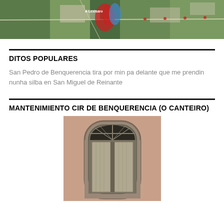[Figure (map): Aerial satellite map with red and blue markings indicating locations around Benquerencia area]
DITOS POPULARES
San Pedro de Benquerencia tira por min pa delante que me prendin nunha silba en San Miguel de Reinante
MANTENIMIENTO CIR DE BENQUERENCIA (O CANTEIRO)
[Figure (photo): Photograph of an old wooden door with arched top frame on a pink/terracotta plastered wall]